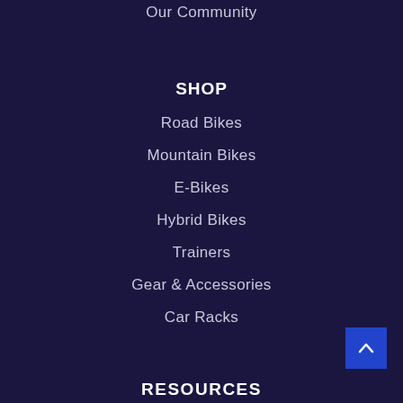Our Community
SHOP
Road Bikes
Mountain Bikes
E-Bikes
Hybrid Bikes
Trainers
Gear & Accessories
Car Racks
RESOURCES